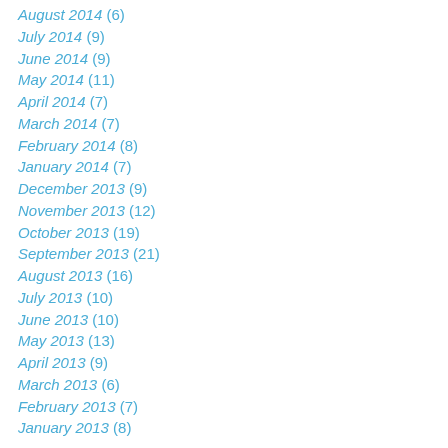August 2014 (6)
July 2014 (9)
June 2014 (9)
May 2014 (11)
April 2014 (7)
March 2014 (7)
February 2014 (8)
January 2014 (7)
December 2013 (9)
November 2013 (12)
October 2013 (19)
September 2013 (21)
August 2013 (16)
July 2013 (10)
June 2013 (10)
May 2013 (13)
April 2013 (9)
March 2013 (6)
February 2013 (7)
January 2013 (8)